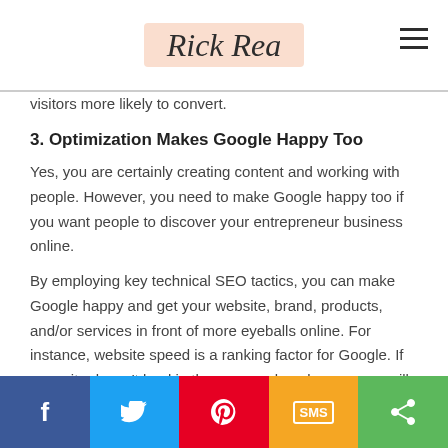Rick Rea
visitors more likely to convert.
3. Optimization Makes Google Happy Too
Yes, you are certainly creating content and working with people. However, you need to make Google happy too if you want people to discover your entrepreneur business online.
By employing key technical SEO tactics, you can make Google happy and get your website, brand, products, and/or services in front of more eyeballs online. For instance, website speed is a ranking factor for Google. If your site doesn't load in three seconds or less, a user will abandon it, and Google takes
[Figure (infographic): Social share bar with five buttons: Facebook (blue), Twitter (light blue), Pinterest (red), SMS (orange/yellow), Share (green)]